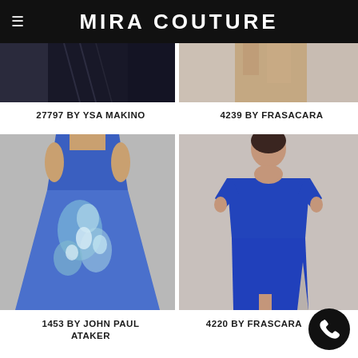MIRA COUTURE
[Figure (photo): Partial view of a dark navy garment by Ysa Makino]
[Figure (photo): Partial view of a light-colored garment by Frasacara]
27797 BY YSA MAKINO
4239 BY FRASACARA
[Figure (photo): Model wearing a blue floral strapless A-line cocktail dress by John Paul Ataker]
[Figure (photo): Model wearing a royal blue off-shoulder fitted gown with slit by Frascara]
1453 BY JOHN PAUL ATAKER
4220 BY FRASCARA